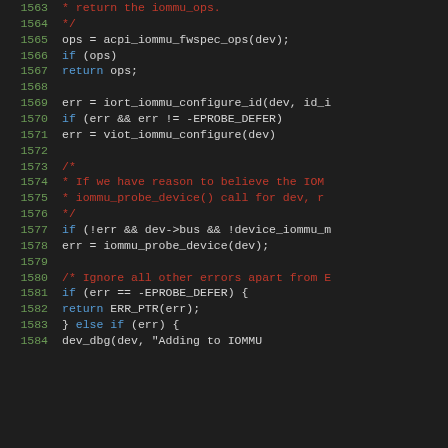Source code listing lines 1563-1584, C kernel code for IOMMU configuration
[Figure (screenshot): C source code snippet showing IOMMU configuration logic with syntax highlighting. Lines 1563-1584 showing comment block, function calls to acpi_iommu_fwspec_ops, iort_iommu_configure_id, viot_iommu_configure, iommu_probe_device, and error handling branches.]